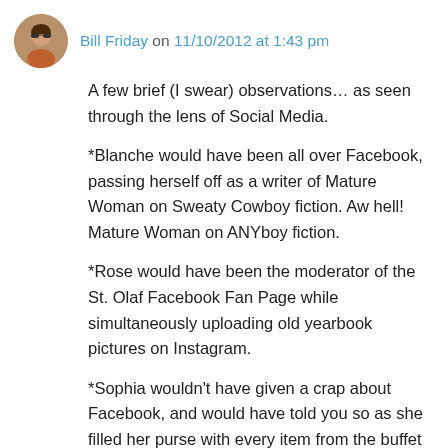Bill Friday on 11/10/2012 at 1:43 pm
A few brief (I swear) observations… as seen through the lens of Social Media.
*Blanche would have been all over Facebook, passing herself off as a writer of Mature Woman on Sweaty Cowboy fiction. Aw hell! Mature Woman on ANYboy fiction.
*Rose would have been the moderator of the St. Olaf Facebook Fan Page while simultaneously uploading old yearbook pictures on Instagram.
*Sophia wouldn't have given a crap about Facebook, and would have told you so as she filled her purse with every item from the buffet line, just in case another Great Depression hit